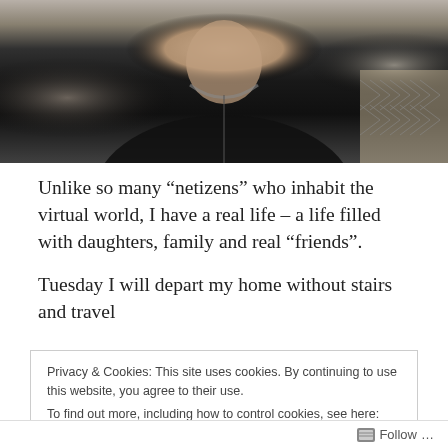[Figure (photo): A man wearing a dark navy/black zip-up fleece jacket, sitting with arms crossed, in what appears to be a restaurant setting. Other people visible in background.]
Unlike so many “netizens” who inhabit the virtual world, I have a real life – a life filled with daughters, family and real “friends”.
Tuesday I will depart my home without stairs and travel
Privacy & Cookies: This site uses cookies. By continuing to use this website, you agree to their use.
To find out more, including how to control cookies, see here: Cookie Policy
Close and accept
Follow